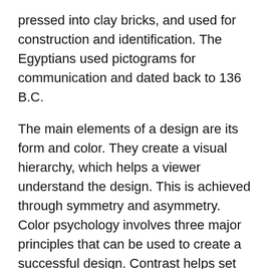pressed into clay bricks, and used for construction and identification. The Egyptians used pictograms for communication and dated back to 136 B.C.
The main elements of a design are its form and color. They create a visual hierarchy, which helps a viewer understand the design. This is achieved through symmetry and asymmetry. Color psychology involves three major principles that can be used to create a successful design. Contrast helps set the tone and make certain elements stand out. They can also create a sense of unity and visual connection. A strong design makes it easy to understand and read.